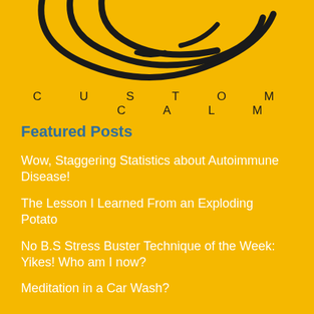[Figure (logo): Partial view of a spiral/circular logo in black on yellow background, cropped at the top of the page]
CUSTOM   CALM
Featured Posts
Wow, Staggering Statistics about Autoimmune Disease!
The Lesson I Learned From an Exploding Potato
No B.S Stress Buster Technique of the Week: Yikes! Who am I now?
Meditation in a Car Wash?